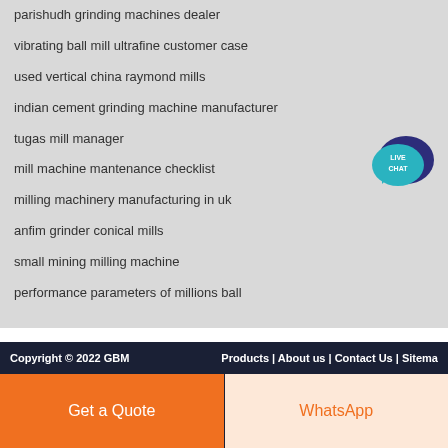parishudh grinding machines dealer
vibrating ball mill ultrafine customer case
used vertical china raymond mills
indian cement grinding machine manufacturer
tugas mill manager
mill machine mantenance checklist
milling machinery manufacturing in uk
anfim grinder conical mills
small mining milling machine
performance parameters of millions ball
[Figure (illustration): Live Chat speech bubble icon with teal/dark blue colors and white text LIVE CHAT]
Copyright © 2022 GBM   Products | About us | Contact Us | Sitemap
Get a Quote
WhatsApp